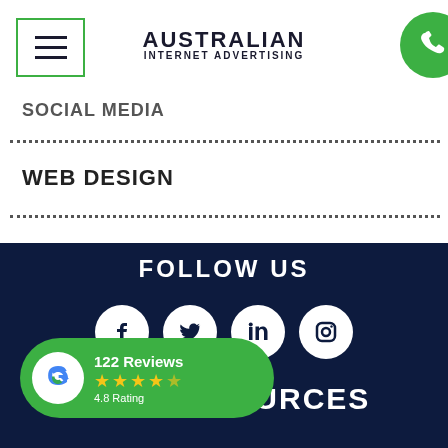[Figure (logo): Australian Internet Advertising logo with hamburger menu icon on left and phone button on right]
SOCIAL MEDIA
WEB DESIGN
FOLLOW US
[Figure (infographic): Social media icons: Facebook, Twitter, LinkedIn, Instagram - white circles on dark navy background]
[Figure (infographic): Google Reviews badge: 122 Reviews, 4.8 Rating with star icons on green rounded rectangle]
OURCES